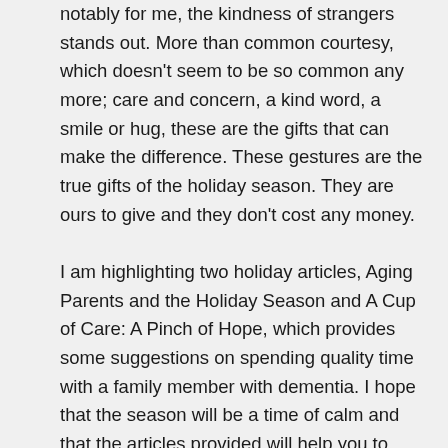notably for me, the kindness of strangers stands out. More than common courtesy, which doesn't seem to be so common any more; care and concern, a kind word, a smile or hug, these are the gifts that can make the difference. These gestures are the true gifts of the holiday season. They are ours to give and they don't cost any money.
I am highlighting two holiday articles, Aging Parents and the Holiday Season and A Cup of Care: A Pinch of Hope, which provides some suggestions on spending quality time with a family member with dementia. I hope that the season will be a time of calm and that the articles provided will help you to keep the balance. Wishing